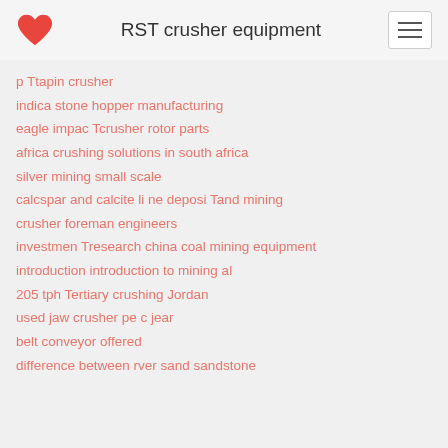RST crusher equipment
p Ttapin crusher
indica stone hopper manufacturing
eagle impac Tcrusher rotor parts
africa crushing solutions in south africa
silver mining small scale
calcspar and calcite li ne deposi Tand mining
crusher foreman engineers
investmen Tresearch china coal mining equipment
introduction introduction to mining al
205 tph Tertiary crushing Jordan
used jaw crusher pe c jear
belt conveyor offered
difference between rver sand sandstone